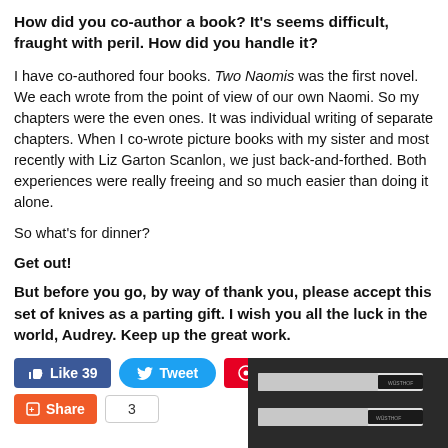How did you co-author a book? It's seems difficult, fraught with peril. How did you handle it?
I have co-authored four books. Two Naomis was the first novel. We each wrote from the point of view of our own Naomi. So my chapters were the even ones. It was individual writing of separate chapters. When I co-wrote picture books with my sister and most recently with Liz Garton Scanlon, we just back-and-forthed. Both experiences were really freeing and so much easier than doing it alone.
So what's for dinner?
Get out!
But before you go, by way of thank you, please accept this set of knives as a parting gift. I wish you all the luck in the world, Audrey. Keep up the great work.
[Figure (other): Social sharing buttons: Facebook Like (39), Twitter Tweet, Pinterest Save, and StumbleUpon Share (3)]
[Figure (photo): Partial image of a set of knives in dark packaging at bottom right corner]